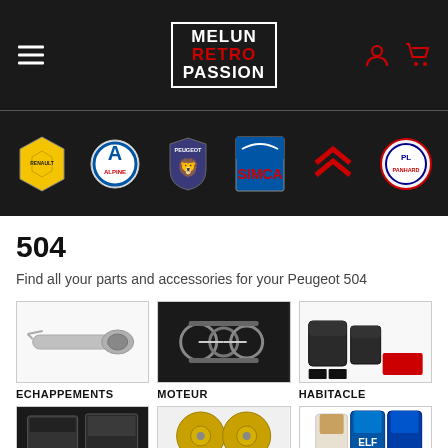[Figure (screenshot): Melun Retro Passion website header with logo, hamburger menu, user and cart icons on dark background]
[Figure (illustration): Row of classic French car brand logos: Renault, Alpine, Peugeot, Simca, Citroën, Panhard on dark background]
504
Find all your parts and accessories for your Peugeot 504
[Figure (photo): Exhaust/muffler part on white background - ECHAPPEMENTS category]
[Figure (photo): Engine parts close-up - MOTEUR category]
[Figure (photo): Interior/cabin accessories and seat covers - HABITACLE category]
[Figure (photo): Electrical/electronic parts - bottom left category]
[Figure (photo): Brake discs - bottom middle category]
[Figure (photo): Oils and fluids bottles - bottom right category]